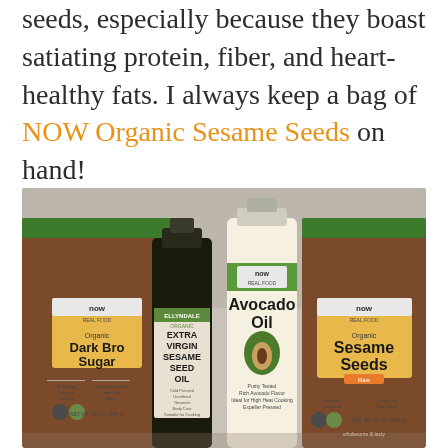seeds, especially because they boast satiating protein, fiber, and heart-healthy fats. I always keep a bag of NOW Organic Sesame Seeds on hand!
[Figure (photo): Photo of NOW Real Food branded products on a shelf: Organic Dark Brown Sugar bag (left), Ellyndale Organic Extra Virgin Sesame Seed Oil bottle (center-left), NOW Avocado Oil bottle (center), and Organic Sesame Seeds bag (right)]